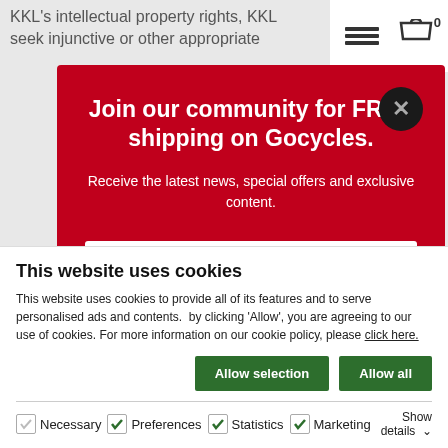KKL's intellectual property rights, KKL seek injunctive or other appropriate
Join our community for FREE shipping on Gocycles.
Receive the latest news, special offers and exclusive content.
Type your name
Type your email
This website uses cookies
This website uses cookies to provide all of its features and to serve personalised ads and contents.  by clicking 'Allow', you are agreeing to our use of cookies. For more information on our cookie policy, please click here.
Allow selection
Allow all
Necessary  Preferences  Statistics  Marketing  Show details